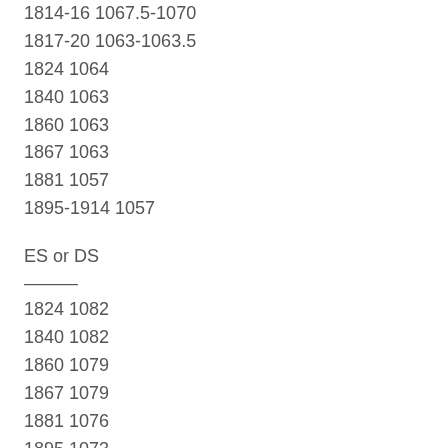1814-16 1067.5-1070
1817-20 1063-1063.5
1824 1064
1840 1063
1860 1063
1867 1063
1881 1057
1895-1914 1057
ES or DS
———
1824 1082
1840 1082
1860 1079
1867 1079
1881 1076
1895 1073
FES